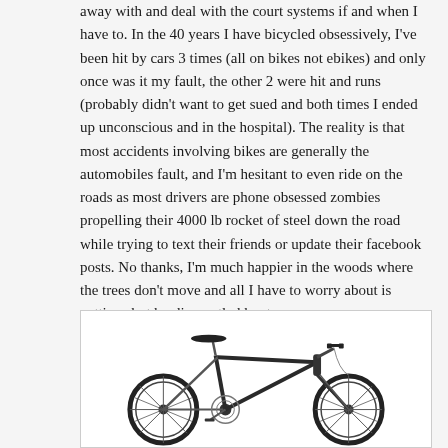away with and deal with the court systems if and when I have to. In the 40 years I have bicycled obsessively, I've been hit by cars 3 times (all on bikes not ebikes) and only once was it my fault, the other 2 were hit and runs (probably didn't want to get sued and both times I ended up unconscious and in the hospital). The reality is that most accidents involving bikes are generally the automobiles fault, and I'm hesitant to even ride on the roads as most drivers are phone obsessed zombies propelling their 4000 lb rocket of steel down the road while trying to text their friends or update their facebook posts. No thanks, I'm much happier in the woods where the trees don't move and all I have to worry about is getting shot by disgruntled hunters.
[Figure (photo): A bicycle (appears to be a mountain or road bike) shown against a white background, dark frame, photographed from the side.]